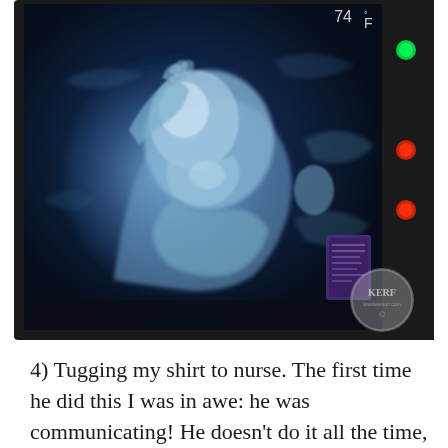[Figure (photo): 3D ultrasound image of a fetus displayed on a medical ultrasound monitor screen. The screen shows a blue-tinted 3D rendering of a fetus in the womb, appearing to have its hand near its face. The monitor has a dark bezel with indicator lights (one green and two red) visible on the right side, and a small purple/blue data display widget. Temperature reading of 74°F is visible in the upper right corner of the screen. A KERF watermark logo appears in the lower right corner of the image.]
4) Tugging my shirt to nurse. The first time he did this I was in awe: he was communicating! He doesn't do it all the time, but sometimes